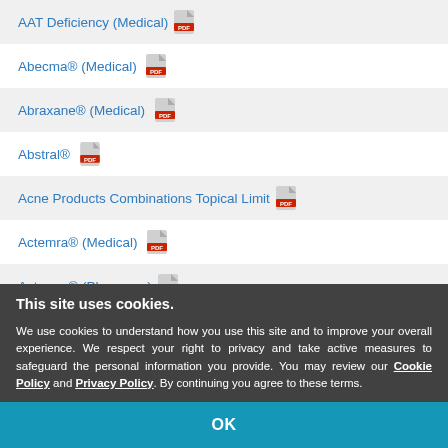AAT Deficiency (Medical)
Abecma® (Medical)
Abraxane® (Medical)
Abstral®
Acne Products Combinations Topical Limit
Actemra® (Medical)
Actemra® (Pharmacy)
Acthar Gel Purified Corticotrophin Lts (Medical)
Actemra® (Medical)
This site uses cookies. We use cookies to understand how you use this site and to improve your overall experience. We respect your right to privacy and take active measures to safeguard the personal information you provide. You may review our Cookie Policy and Privacy Policy. By continuing you agree to these terms.
OK